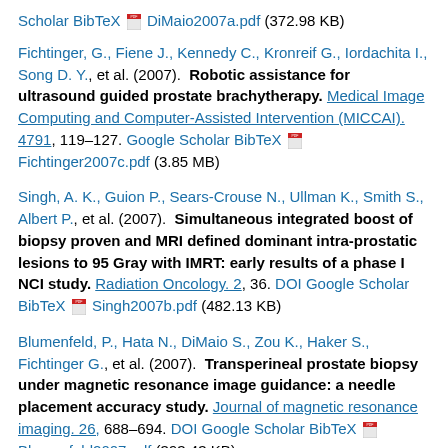Scholar BibTeX [pdf icon] DiMaio2007a.pdf (372.98 KB)
Fichtinger, G., Fiene J., Kennedy C., Kronreif G., Iordachita I., Song D. Y., et al. (2007). Robotic assistance for ultrasound guided prostate brachytherapy. Medical Image Computing and Computer-Assisted Intervention (MICCAI). 4791, 119–127. Google Scholar BibTeX [pdf icon] Fichtinger2007c.pdf (3.85 MB)
Singh, A. K., Guion P., Sears-Crouse N., Ullman K., Smith S., Albert P., et al. (2007). Simultaneous integrated boost of biopsy proven and MRI defined dominant intra-prostatic lesions to 95 Gray with IMRT: early results of a phase I NCI study. Radiation Oncology. 2, 36. DOI Google Scholar BibTeX [pdf icon] Singh2007b.pdf (482.13 KB)
Blumenfeld, P., Hata N., DiMaio S., Zou K., Haker S., Fichtinger G., et al. (2007). Transperineal prostate biopsy under magnetic resonance image guidance: a needle placement accuracy study. Journal of magnetic resonance imaging. 26, 688–694. DOI Google Scholar BibTeX [pdf icon] Blumenfeld2007.pdf (393.43 KB)